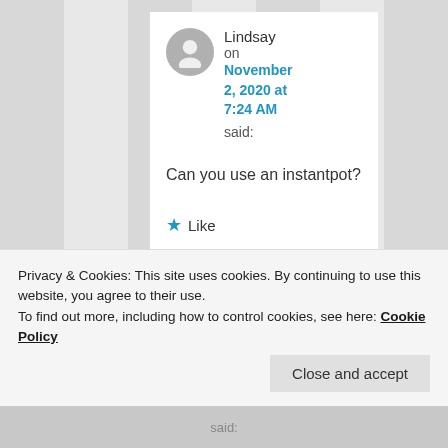Lindsay on November 2, 2020 at 7:24 AM said:
Can you use an instantpot?
Like
Privacy & Cookies: This site uses cookies. By continuing to use this website, you agree to their use. To find out more, including how to control cookies, see here: Cookie Policy
Close and accept